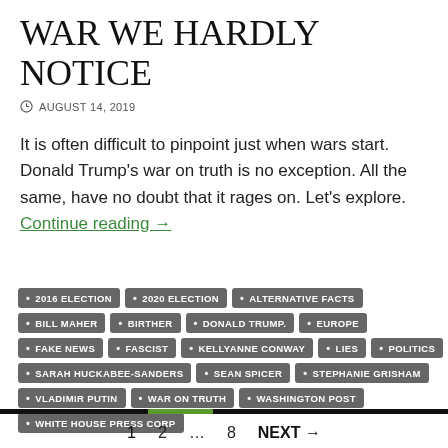WAR WE HARDLY NOTICE
AUGUST 14, 2019
It is often difficult to pinpoint just when wars start. Donald Trump's war on truth is no exception. All the same, have no doubt that it rages on. Let's explore. Continue reading →
2016 ELECTION
2020 ELECTION
ALTERNATIVE FACTS
BILL MAHER
BIRTHER
DONALD TRUMP.
EUROPE
FAKE NEWS
FASCIST
KELLYANNE CONWAY
LIES
POLITICS
SARAH HUCKABEE-SANDERS
SEAN SPICER
STEPHANIE GRISHAM
VLADIMIR PUTIN
WAR ON TRUTH
WASHINGTON POST
WHITE HOUSE PRESS CORP
1  2  …  8  NEXT →